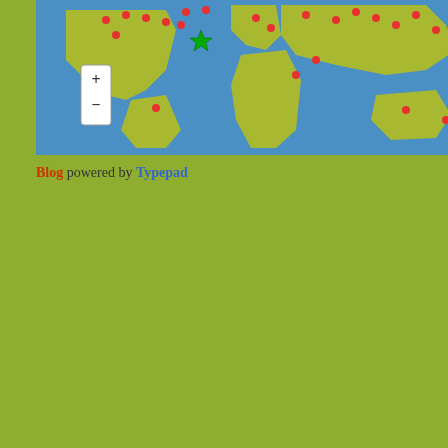[Figure (map): World map with red marker dots showing various locations, zoom in/out controls on left side]
Blog powered by Typepad
dispense with the need for ba... the need to plug-in.
All new cars can be redesign... energy.
During WWII, the automobile... round the clock basis more ra... Averting a catastrophe due to... out effort.
Magnetic Power Modules car... electronics factories, once the... manufacturing stage.
All that continues to hold that...
Posted by: Mark Goldes | March 28...
[Figure (logo): Blue and white abstract fan/wave logo image]
Your 2007 goal seems to be t... you said it would be achieved...
Is the new prediction for that... over to 2009 in 2008?
Perpetual motion only comes... perspective. Converted to...